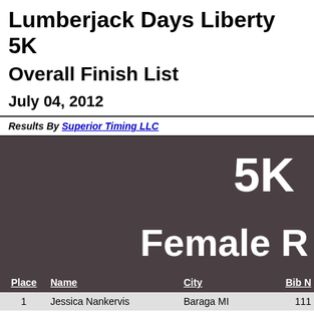Lumberjack Days Liberty 5K
Overall Finish List
July 04, 2012
Results By Superior Timing LLC
[Figure (other): Dark banner image displaying '5K' and 'Female' text in white on dark brownish-gray background]
| Place | Name | City | Bib N |
| --- | --- | --- | --- |
| 1 | Jessica Nankervis | Baraga MI | 111 |